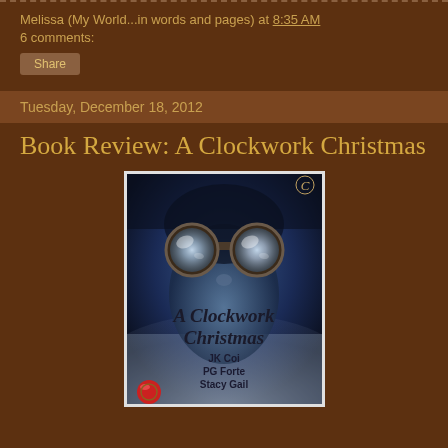Melissa (My World...in words and pages) at 8:35 AM
6 comments:
Share
Tuesday, December 18, 2012
Book Review: A Clockwork Christmas
[Figure (photo): Book cover of 'A Clockwork Christmas' showing a figure wearing steampunk goggles with large round lenses against a dark misty background. The title text reads 'A Clockwork Christmas' in elegant script, followed by author names JK Coi, PG Forte, Stacy Gail. A small red circular object appears at the bottom left and the publisher logo is in the top right corner.]